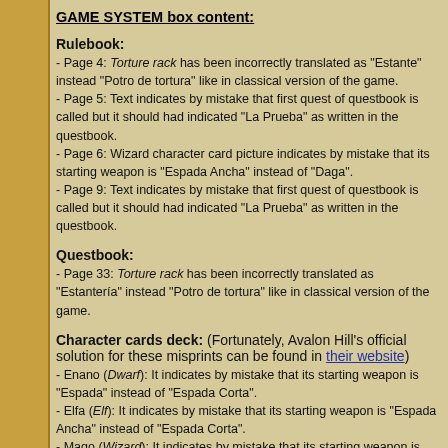GAME SYSTEM box content:
Rulebook:
- Page 4: Torture rack has been incorrectly translated as "Estante" instead "Potro de tortura" like in classical version of the game.
- Page 5: Text indicates by mistake that first quest of questbook is called but it should had indicated "La Prueba" as written in the questbook.
- Page 6: Wizard character card picture indicates by mistake that its starting weapon is "Espada Ancha" instead of "Daga".
- Page 9: Text indicates by mistake that first quest of questbook is called but it should had indicated "La Prueba" as written in the questbook.
Questbook:
- Page 33: Torture rack has been incorrectly translated as "Estantería" instead "Potro de tortura" like in classical version of the game.
Character cards deck:
(Fortunately, Avalon Hill's official solution for these misprints can be found in their website)
- Enano (Dwarf): It indicates by mistake that its starting weapon is "Espada" instead of "Espada Corta".
- Elfa (Elf): It indicates by mistake that its starting weapon is "Espada Ancha" instead of "Espada Corta".
- Mago (Wizard): It indicates by mistake that its starting weapon is "Espada" instead of "Daga".